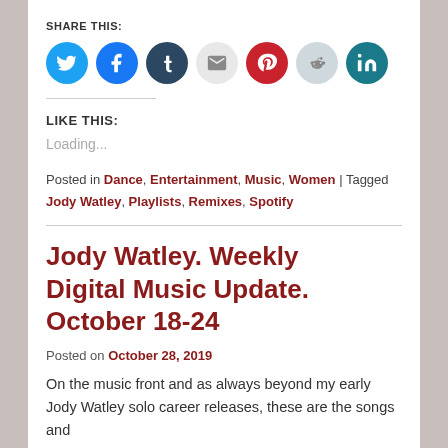SHARE THIS:
[Figure (infographic): Row of seven circular social media share icons: Twitter (blue), Facebook (blue), Tumblr (dark navy), Email (light gray), Pinterest (red), Reddit (light gray), LinkedIn (teal)]
LIKE THIS:
Loading...
Posted in Dance, Entertainment, Music, Women | Tagged Jody Watley, Playlists, Remixes, Spotify
Jody Watley. Weekly Digital Music Update. October 18-24
Posted on October 28, 2019
On the music front and as always beyond my early Jody Watley solo career releases, these are the songs and